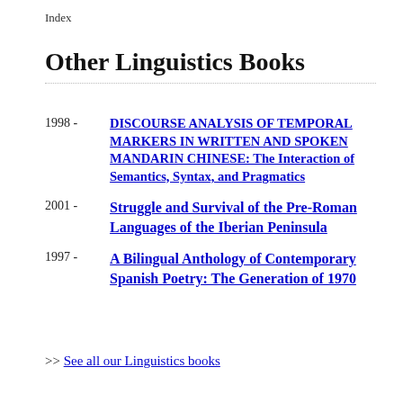Index
Other Linguistics Books
1998 - DISCOURSE ANALYSIS OF TEMPORAL MARKERS IN WRITTEN AND SPOKEN MANDARIN CHINESE: The Interaction of Semantics, Syntax, and Pragmatics
2001 - Struggle and Survival of the Pre-Roman Languages of the Iberian Peninsula
1997 - A Bilingual Anthology of Contemporary Spanish Poetry: The Generation of 1970
>> See all our Linguistics books